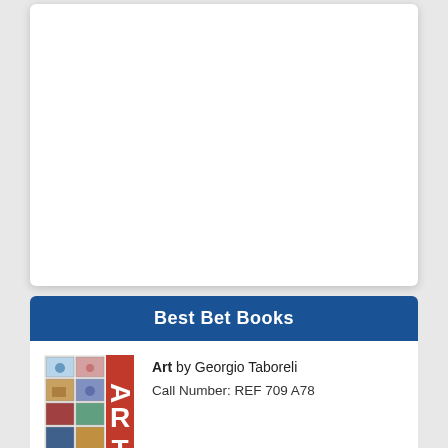Best Bet Books
[Figure (illustration): Book cover for Art: A World History by Georgio Taboreli, showing a collage of postage stamps and artwork images with large red letters ART on the spine]
Art by Georgio Taboreli
Call Number: REF 709 A78